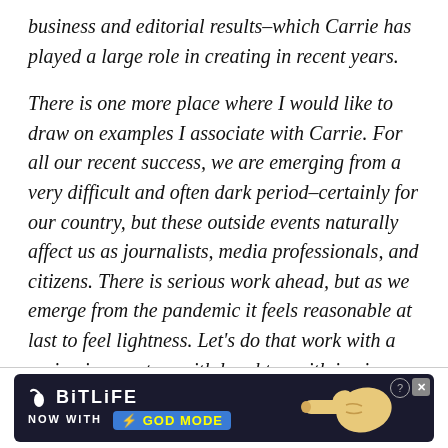business and editorial results–which Carrie has played a large role in creating in recent years.
There is one more place where I would like to draw on examples I associate with Carrie. For all our recent success, we are emerging from a very difficult and often dark period–certainly for our country, but these outside events naturally affect us as journalists, media professionals, and citizens. There is serious work ahead, but as we emerge from the pandemic it feels reasonable at last to feel lightness. Let's do that work with a spring in our step, with laughter, with joy in meeting and beating the competition, and with satisfaction in
[Figure (infographic): BitLife advertisement banner: dark navy background with BitLife logo (sperm icon), text 'NOW WITH GOD MODE' with yellow lightning bolt, and a hand pointing finger graphic on the right. Has a help (?) and close (X) button in the top right corner.]